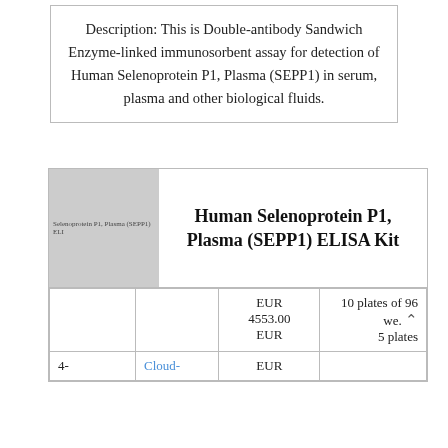Description: This is Double-antibody Sandwich Enzyme-linked immunosorbent assay for detection of Human Selenoprotein P1, Plasma (SEPP1) in serum, plasma and other biological fluids.
[Figure (photo): Product image placeholder showing gray box with text 'Selenoprotein P1, Plasma (SEPP1) ELISA Kit']
Human Selenoprotein P1, Plasma (SEPP1) ELISA Kit
|  |  | EUR 4553.00 EUR | 10 plates of 96 we. 5 plates |
| --- | --- | --- | --- |
| 4- | Cloud- | EUR |  |